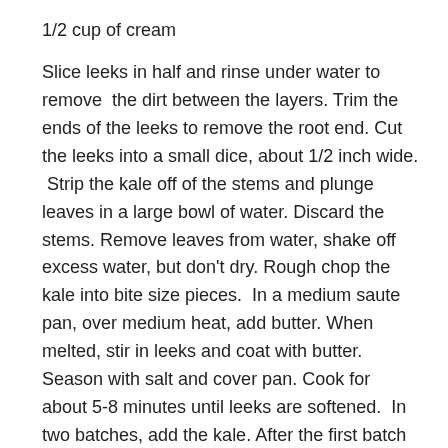1/2 cup of cream
Slice leeks in half and rinse under water to remove  the dirt between the layers. Trim the ends of the leeks to remove the root end. Cut the leeks into a small dice, about 1/2 inch wide.  Strip the kale off of the stems and plunge leaves in a large bowl of water. Discard the stems. Remove leaves from water, shake off excess water, but don't dry. Rough chop the kale into bite size pieces.  In a medium saute pan, over medium heat, add butter. When melted, stir in leeks and coat with butter. Season with salt and cover pan. Cook for about 5-8 minutes until leeks are softened.  In two batches, add the kale. After the first batch begins to wilt, add the second and continue to cook until all the kale is wilted, about 3-4 minutes.  Add cream and cook until cream is reduced and kale is tender, about another 8-10 minutes. Taste and adjust seasoning with salt and black pepper.
Optional:  instead of leeks, use red onion, and when you add